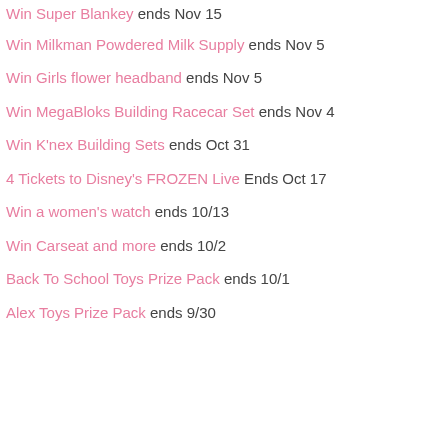Win Super Blankey ends Nov 15
Win Milkman Powdered Milk Supply ends Nov 5
Win Girls flower headband ends Nov 5
Win MegaBloks Building Racecar Set ends Nov 4
Win K'nex Building Sets ends Oct 31
4 Tickets to Disney's FROZEN Live Ends Oct 17
Win a women's watch ends 10/13
Win Carseat and more ends 10/2
Back To School Toys Prize Pack ends 10/1
Alex Toys Prize Pack ends 9/30